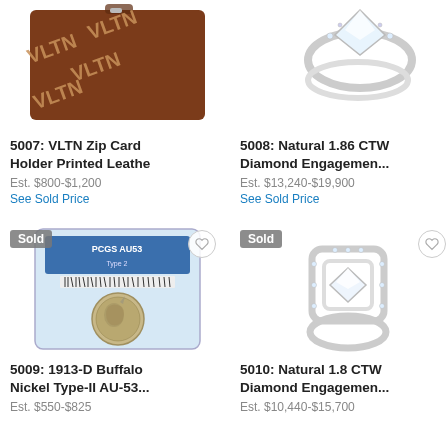[Figure (photo): Brown VLTN printed leather zip card holder / small clutch bag]
5007: VLTN Zip Card Holder Printed Leathe
Est. $800-$1,200
See Sold Price
[Figure (photo): Silver diamond engagement ring with wedding band set]
5008: Natural 1.86 CTW Diamond Engagemen...
Est. $13,240-$19,900
See Sold Price
[Figure (photo): Graded PCGS AU53 1913-D Buffalo Nickel Type-II coin in slab]
5009: 1913-D Buffalo Nickel Type-II AU-53...
Est. $550-$825
[Figure (photo): Natural diamond halo engagement ring in white gold]
5010: Natural 1.8 CTW Diamond Engagemen...
Est. $10,440-$15,700